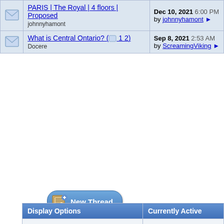|  | Thread Title | Last Post |
| --- | --- | --- |
| [icon] | PARIS | The Royal | 4 floors | Proposed
johnnyhamont | Dec 10, 2021 6:00 PM
by johnnyhamont |
| [icon] | What is Central Ontario? ( 1 2)
Docere | Sep 8, 2021 2:53 AM
by ScreamingViking |
[Figure (screenshot): New Thread button with blue rounded pill shape and document icon]
| Display Options | Currently Active |
| --- | --- |
| Showing threads 1 to 24 of 24 | 188 (10 members & |